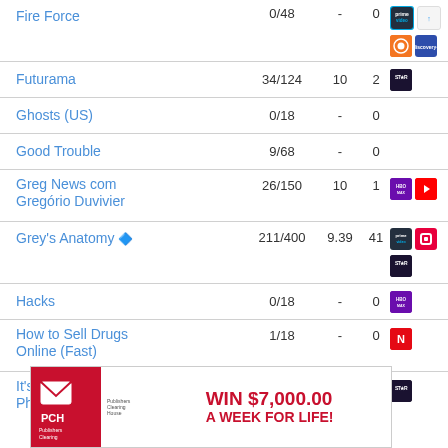| Show | Episodes | Rating | Count | Platforms |
| --- | --- | --- | --- | --- |
| Fire Force | 0/48 | - | 0 |  |
| Futurama | 34/124 | 10 | 2 | Star |
| Ghosts (US) | 0/18 | - | 0 |  |
| Good Trouble | 9/68 | - | 0 |  |
| Greg News com Gregório Duvivier | 26/150 | 10 | 1 | HBO Max, YouTube |
| Grey's Anatomy | 211/400 | 9.39 | 41 | Prime, Discovery+, Star |
| Hacks | 0/18 | - | 0 | HBO Max |
| How to Sell Drugs Online (Fast) | 1/18 | - | 0 | Netflix |
| It's Always Sunny in Philadelphia | 2/161 | - | 0 | Star |
[Figure (other): Publishers Clearing House advertisement banner: WIN $7,000.00 A WEEK FOR LIFE!]